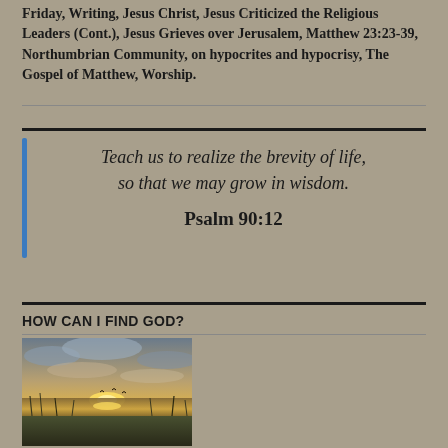Friday, Writing, Jesus Christ, Jesus Criticized the Religious Leaders (Cont.), Jesus Grieves over Jerusalem, Matthew 23:23-39, Northumbrian Community, on hypocrites and hypocrisy, The Gospel of Matthew, Worship.
Teach us to realize the brevity of life, so that we may grow in wisdom.

Psalm 90:12
HOW CAN I FIND GOD?
[Figure (photo): Sunset over a wetland/marsh landscape with dramatic cloudy sky, water reflections, tall grasses in foreground, and birds visible near the horizon.]